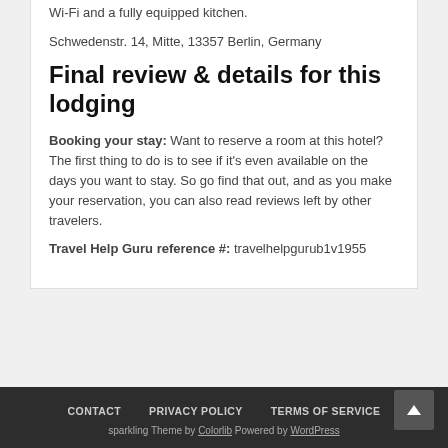Wi-Fi and a fully equipped kitchen.
Schwedenstr. 14, Mitte, 13357 Berlin, Germany
Final review & details for this lodging
Booking your stay: Want to reserve a room at this hotel? The first thing to do is to see if it's even available on the days you want to stay. So go find that out, and as you make your reservation, you can also read reviews left by other travelers.
Travel Help Guru reference #: travelhelpgurub1v1955
CONTACT   PRIVACY POLICY   TERMS OF SERVICE
sparkling Theme by Colorlib Powered by WordPress